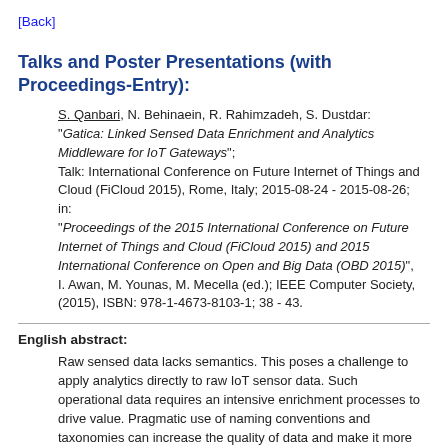[Back]
Talks and Poster Presentations (with Proceedings-Entry):
S. Qanbari, N. Behinaein, R. Rahimzadeh, S. Dustdar: "Gatica: Linked Sensed Data Enrichment and Analytics Middleware for IoT Gateways"; Talk: International Conference on Future Internet of Things and Cloud (FiCloud 2015), Rome, Italy; 2015-08-24 - 2015-08-26; in: "Proceedings of the 2015 International Conference on Future Internet of Things and Cloud (FiCloud 2015) and 2015 International Conference on Open and Big Data (OBD 2015)", I. Awan, M. Younas, M. Mecella (ed.); IEEE Computer Society, (2015), ISBN: 978-1-4673-8103-1; 38 - 43.
English abstract:
Raw sensed data lacks semantics. This poses a challenge to apply analytics directly to raw IoT sensor data. Such operational data requires an intensive enrichment processes to drive value. Pragmatic use of naming conventions and taxonomies can increase the quality of data and make it more interpretable. In this paper, we incorporate semantic and linked data technologies and offer a middleware called Gatica, to dynamically inject semantics to make the raw streaming data of an IoT gateway "Rich" on the device layer. Gatica collects the real-time sensor data with other service annotations, the set of named...